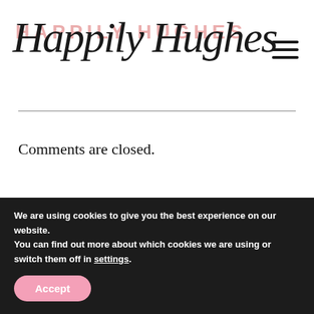Happily Hughes
Comments are closed.
[Figure (photo): Palm tree fronds against a blue sky, partial view cropped at edges]
We are using cookies to give you the best experience on our website.
You can find out more about which cookies we are using or switch them off in settings.
Accept